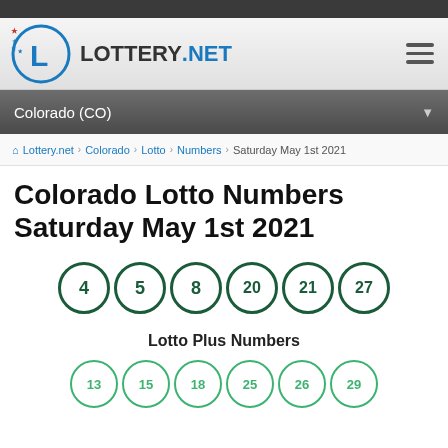LOTTERY.NET
Colorado (CO)
Lottery.net > Colorado > Lotto > Numbers > Saturday May 1st 2021
Colorado Lotto Numbers Saturday May 1st 2021
[Figure (infographic): Six lottery balls in dark green circles showing numbers: 4, 5, 8, 20, 21, 27]
Lotto Plus Numbers
[Figure (infographic): Six lottery balls in light green circles showing numbers: 13, 15, 18, 25, 26, 29]